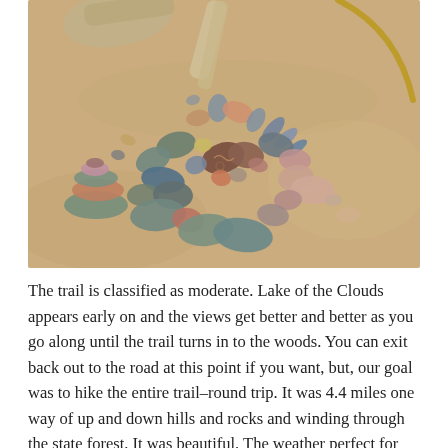[Figure (photo): A photograph of colorful river stones and pebbles arranged in a butterfly or flower pattern on sandy ground. There is also a stacked pile of stones in the upper left and what appears to be driftwood pieces in the upper portion of the image.]
The trail is classified as moderate. Lake of the Clouds appears early on and the views get better and better as you go along until the trail turns in to the woods. You can exit back out to the road at this point if you want, but, our goal was to hike the entire trail–round trip. It was 4.4 miles one way of up and down hills and rocks and winding through the state forest. It was beautiful. The weather perfect for hiking